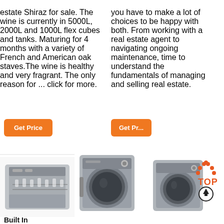estate Shiraz for sale. The wine is currently in 5000L, 2000L and 1000L flex cubes and tanks. Maturing for 4 months with a variety of French and American oak staves.The wine is healthy and very fragrant. The only reason for ... click for more.
Get Price
you have to make a lot of choices to be happy with both. From working with a real estate agent to navigating ongoing maintenance, time to understand the fundamentals of managing and selling real estate.
[Figure (other): 24/7 Online chat widget overlay with a woman wearing a headset, dark background with text 'Click here for free chat!' and an orange QUOTATION button]
Get Price
[Figure (photo): Silver built-in dishwasher with door open showing dish racks]
[Figure (photo): Silver front-loading washing machine with door open]
[Figure (photo): Silver front-loading washing machine with orange/red TOP badge and up arrow]
Built In